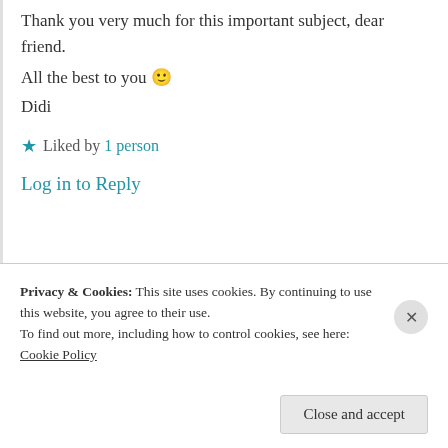Thank you very much for this important subject, dear friend.
All the best to you 🙂
Didi
★ Liked by 1 person
Log in to Reply
Privacy & Cookies: This site uses cookies. By continuing to use this website, you agree to their use.
To find out more, including how to control cookies, see here: Cookie Policy
Close and accept